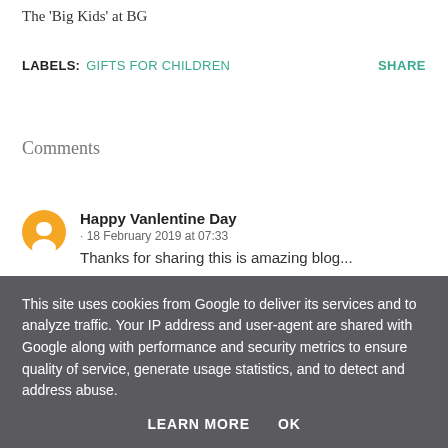The 'Big Kids' at BG
LABELS: GIFTS FOR CHILDREN   SHARE
Comments
Happy Vanlentine Day
· 18 February 2019 at 07:33
Thanks for sharing this is amazing blog...
This site uses cookies from Google to deliver its services and to analyze traffic. Your IP address and user-agent are shared with Google along with performance and security metrics to ensure quality of service, generate usage statistics, and to detect and address abuse.
LEARN MORE   OK